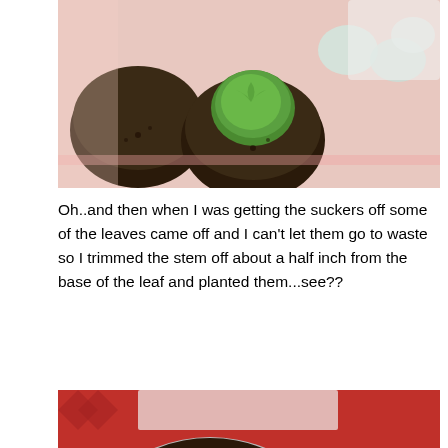[Figure (photo): Overhead view of small plant pots with succulents and dark soil on a pink/red tray surface]
Oh..and then when I was getting the suckers off some of the leaves came off and I can't let them go to waste so I trimmed the stem off about a half inch from the base of the leaf and planted them...see??
[Figure (photo): Two round aluminum pans filled with dark soil and green succulent leaves planted stem-down in the soil, on a red patterned surface]